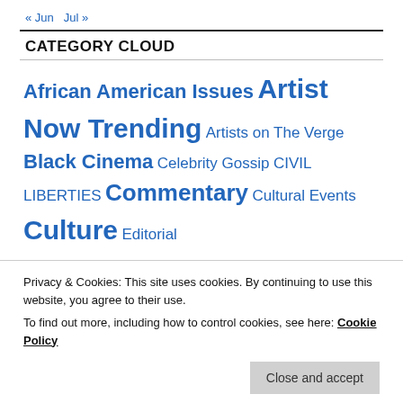« Jun  Jul »
CATEGORY CLOUD
African American Issues  Artist Now Trending  Artists on The Verge  Black Cinema  Celebrity Gossip  CIVIL LIBERTIES  Commentary  Cultural Events  Culture  Editorial  Entertainment  Events  Fashion  Film Projects  Healthcare
Privacy & Cookies: This site uses cookies. By continuing to use this website, you agree to their use.
To find out more, including how to control cookies, see here: Cookie Policy
Close and accept